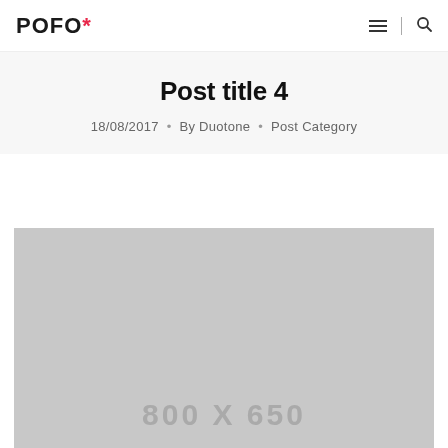POFO*
Post title 4
18/08/2017 • By Duotone • Post Category
[Figure (other): Gray placeholder image with text '800 X 650']